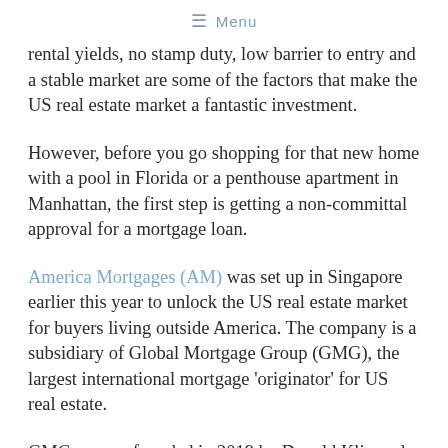☰ Menu
rental yields, no stamp duty, low barrier to entry and a stable market are some of the factors that make the US real estate market a fantastic investment.
However, before you go shopping for that new home with a pool in Florida or a penthouse apartment in Manhattan, the first step is getting a non-committal approval for a mortgage loan.
America Mortgages (AM) was set up in Singapore earlier this year to unlock the US real estate market for buyers living outside America. The company is a subsidiary of Global Mortgage Group (GMG), the largest international mortgage 'originator' for US real estate.
GMG was co-founded in 2019 by Donald Klip and